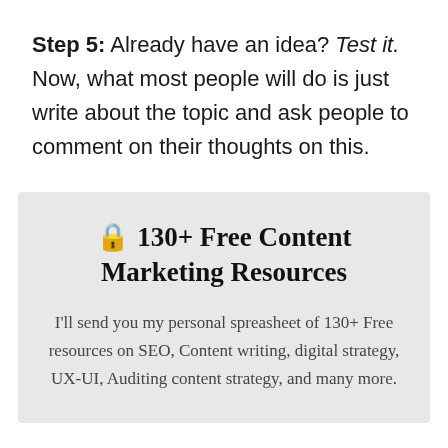Step 5: Already have an idea? Test it. Now, what most people will do is just write about the topic and ask people to comment on their thoughts on this.
🔒 130+ Free Content Marketing Resources
I'll send you my personal spreasheet of 130+ Free resources on SEO, Content writing, digital strategy, UX-UI, Auditing content strategy, and many more.